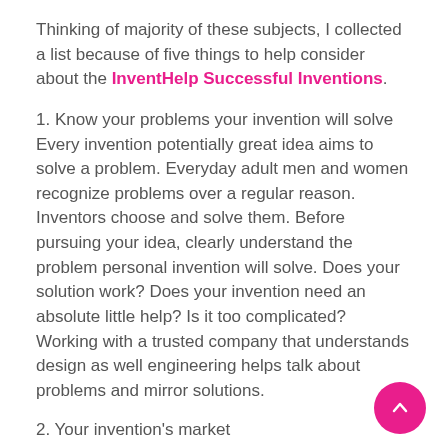Thinking of majority of these subjects, I collected a list because of five things to help consider about the InventHelp Successful Inventions.
1. Know your problems your invention will solve Every invention potentially great idea aims to solve a problem. Everyday adult men and women recognize problems over a regular reason. Inventors choose and solve them. Before pursuing your idea, clearly understand the problem personal invention will solve. Does your solution work? Does your invention need an absolute little help? Is it too complicated? Working with a trusted company that understands design as well engineering helps talk about problems and mirror solutions.
2. Your invention's market